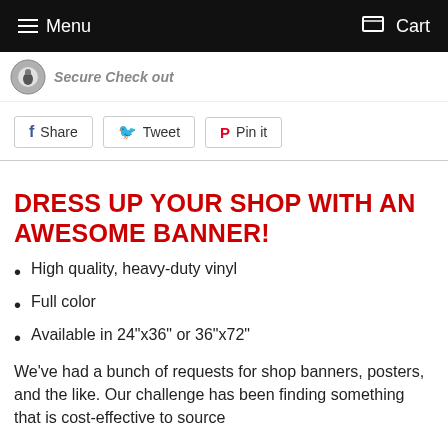Menu   Cart
Secure Check out
Share   Tweet   Pin it
DRESS UP YOUR SHOP WITH AN AWESOME BANNER!
High quality, heavy-duty vinyl
Full color
Available in 24"x36" or 36"x72"
We've had a bunch of requests for shop banners, posters, and the like. Our challenge has been finding something that is cost-effective to source